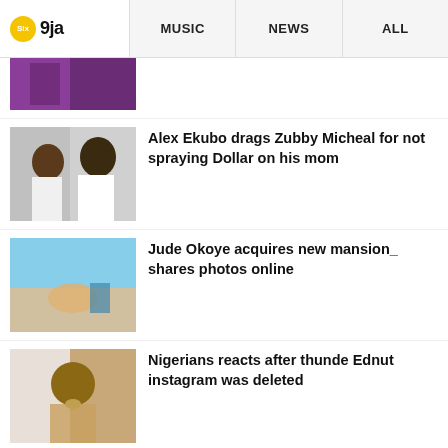Six 9ja | MUSIC | NEWS | ALL
[Figure (photo): Partial top image showing person in purple/magenta outfit]
Alex Ekubo drags Zubby Micheal for not spraying Dollar on his mom
Jude Okoye acquires new mansion_ shares photos online
Nigerians reacts after thunde Ednut instagram was deleted
Rihanna spotted in her hometown st...